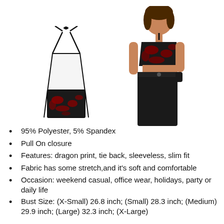[Figure (photo): Two product images side by side: left shows a flat lay of a black and red dragon print halter crop top with tie back; right shows a model wearing the same black and red halter crop top with black jeans.]
95% Polyester, 5% Spandex
Pull On closure
Features: dragon print, tie back, sleeveless, slim fit
Fabric has some stretch,and it's soft and comfortable
Occasion: weekend casual, office wear, holidays, party or daily life
Bust Size: (X-Small) 26.8 inch; (Small) 28.3 inch; (Medium) 29.9 inch; (Large) 32.3 inch; (X-Large)